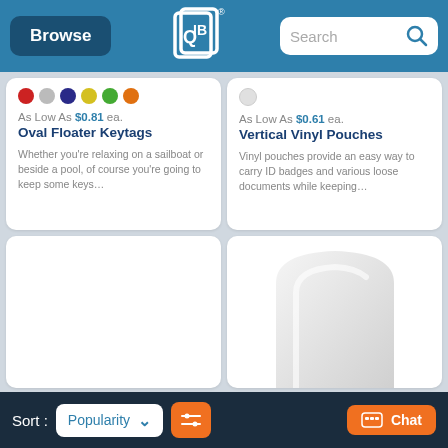Browse | QLP Logo | Search
[Figure (screenshot): Product card: Oval Floater Keytags with color swatches (red, gray, navy, yellow, green, orange), price As Low As $0.81 ea., and description text.]
[Figure (screenshot): Product card: Vertical Vinyl Pouches with white color swatch, price As Low As $0.61 ea., and description text.]
[Figure (photo): Lower-left product card, empty/white background.]
[Figure (photo): Lower-right product card showing a white vertical vinyl pouch product image.]
Sort: Popularity ▾ [filter icon] [Chat button]